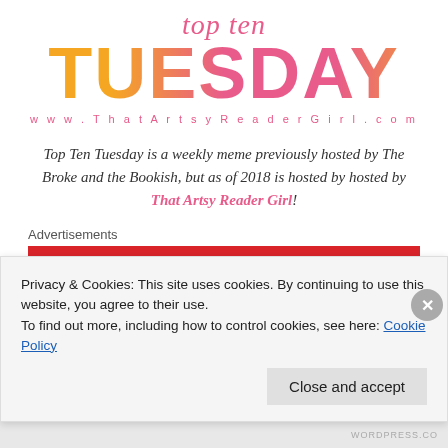[Figure (logo): Top Ten Tuesday logo with 'top ten' in pink italic script above 'TUESDAY' in large bold gradient orange-to-pink letters, and website URL below]
www.ThatArtsyReaderGirl.com
Top Ten Tuesday is a weekly meme previously hosted by The Broke and the Bookish, but as of 2018 is hosted by hosted by That Artsy Reader Girl!
Advertisements
Privacy & Cookies: This site uses cookies. By continuing to use this website, you agree to their use.
To find out more, including how to control cookies, see here: Cookie Policy
Close and accept